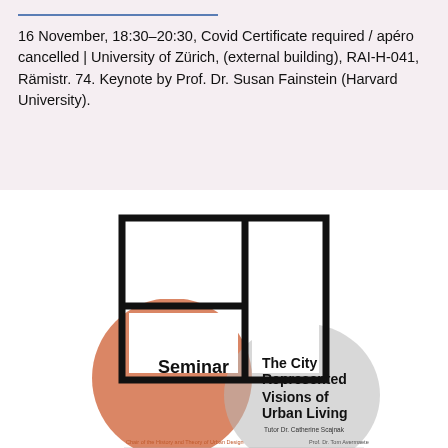16 November, 18:30–20:30, Covid Certificate required / apéro cancelled | University of Zürich, (external building), RAI-H-041, Rämistr. 74. Keynote by Prof. Dr. Susan Fainstein (Harvard University).
[Figure (illustration): Seminar poster for 'The City Represented – Visions of Urban Living' by Tutor Dr. Catherine Scajnak. Shows a geometric logo of three rectangles (two stacked on left, one tall on right) in black outline, overlaid with orange and grey circle shapes. Bottom section lists date (Spring 2022, Thursdays 13:00–15:00h), location (ETH Zürich Hönggerberg, HPT C 103), and a description paragraph about the seminar focusing on an international housing ideas competition from Japan.]